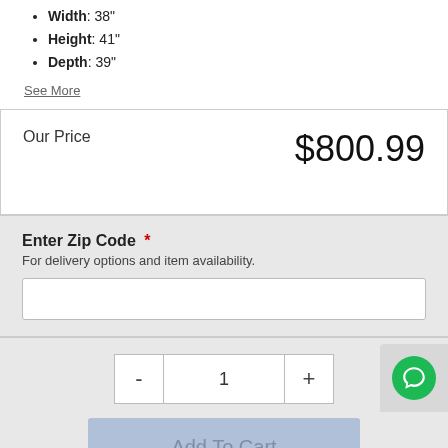Width: 38
Height: 41"
Depth: 39"
See More
Our Price   $800.99
Enter Zip Code *
For delivery options and item availability.
1
Add To Cart
Share This Item